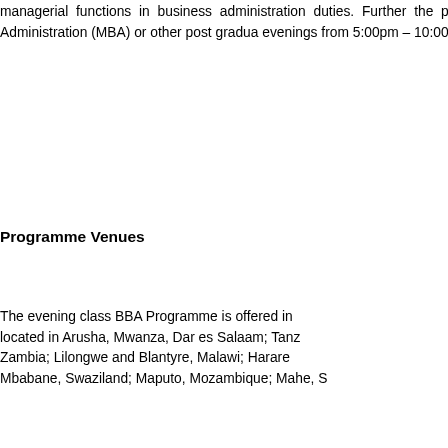managerial functions in business administration duties. Further the program provides base for graduates who wish to pursue Master of Business Administration (MBA) or other post graduate programs. Classes are held on evenings from 5:00pm – 10:00pm. These classes will run for approximately two and a half months.
Programme Venues
The evening class BBA Programme is offered in various cities located in Arusha, Mwanza, Dar es Salaam; Tanzania; Lusaka, Zambia; Lilongwe and Blantyre, Malawi; Harare, Zimbabwe; Mbabane, Swaziland; Maputo, Mozambique; Mahe, Seychelles.
Fee Structure
Fees payment is arranged by country and can be paid annually or per semester by arrangement. The fees do not include textbooks among other exclusions.
Admission Criteria
Applicant for the Bachelor Programmes must have the following:
• At least A' Level or equivalent qualification from a recognised institution.
• Possession of ordinary diploma from a recognised institution.
• Ability to speak and write English clearly.